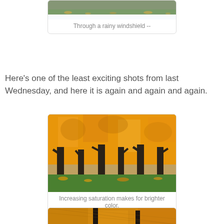[Figure (photo): Photo of a rainy scene through a windshield, showing trees and green grass.]
Through a rainy windshield --
Here's one of the least exciting shots from last Wednesday, and here it is again and again and again.
[Figure (photo): Photo of trees with bright orange/yellow autumn foliage against green grass.]
Increasing saturation makes for brighter color.
[Figure (photo): Partial view of trees with bright orange/yellow autumn foliage, similar to the previous photo.]